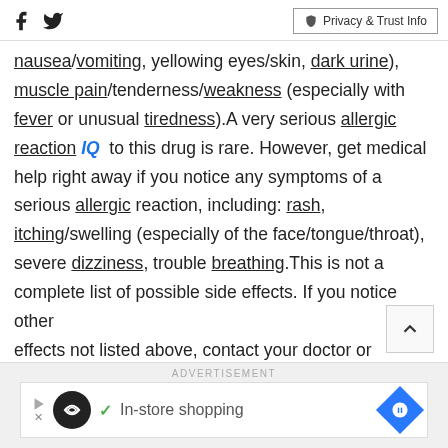Social icons (Facebook, Twitter) and Privacy & Trust Info button
nausea/vomiting, yellowing eyes/skin, dark urine), muscle pain/tenderness/weakness (especially with fever or unusual tiredness).A very serious allergic reaction IQ to this drug is rare. However, get medical help right away if you notice any symptoms of a serious allergic reaction, including: rash, itching/swelling (especially of the face/tongue/throat), severe dizziness, trouble breathing.This is not a complete list of possible side effects. If you notice other effects not listed above, contact your doctor or pharmacist.In the US -Call your doctor for medical
[Figure (other): ADVERTISEMENT banner with infinity logo and In-store shopping text]